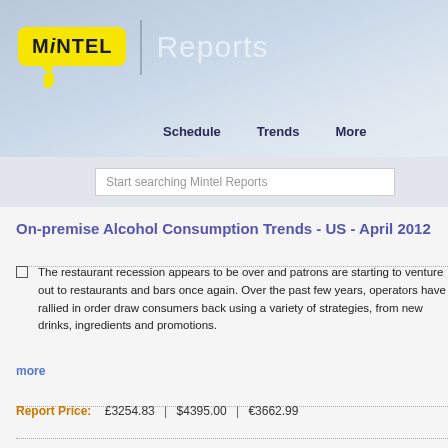[Figure (logo): Mintel Reports logo with yellow speech bubble and 'Reports' text, with navigation links Schedule, Trends, More]
Start searching Mintel Reports
On-premise Alcohol Consumption Trends - US - April 2012
The restaurant recession appears to be over and patrons are starting to venture out to restaurants and bars once again. Over the past few years, operators have rallied in order draw consumers back using a variety of strategies, from new drinks, ingredients and promotions.
more
Report Price:   £3254.83   |   $4395.00   |   €3662.99